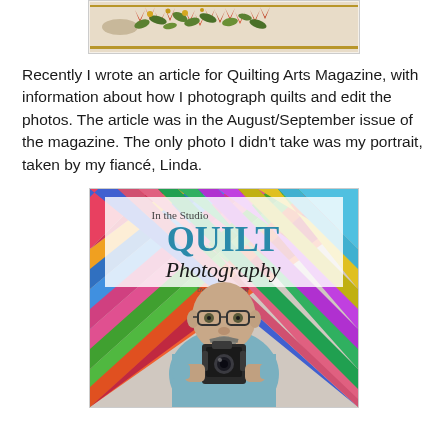[Figure (photo): Top partial image of a decorative quilt/fabric with floral pattern in red, green and gold tones on a beige background, shown in a bordered frame.]
Recently I wrote an article for Quilting Arts Magazine, with information about how I photograph quilts and edit the photos. The article was in the August/September issue of the magazine. The only photo I didn't take was my portrait, taken by my fiancé, Linda.
[Figure (photo): Magazine article page from Quilting Arts Magazine showing the article 'In the Studio: QUILT Photography' with a photo of a bald man with glasses and a goatee holding a medium format camera in front of a colorful diagonal-striped quilt background.]